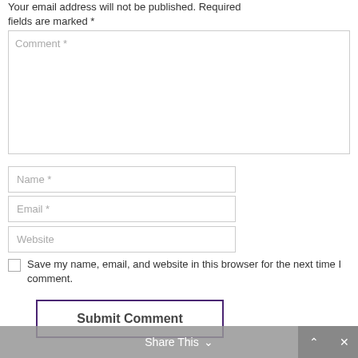Your email address will not be published. Required fields are marked *
Comment *
Name *
Email *
Website
Save my name, email, and website in this browser for the next time I comment.
Submit Comment
Share This